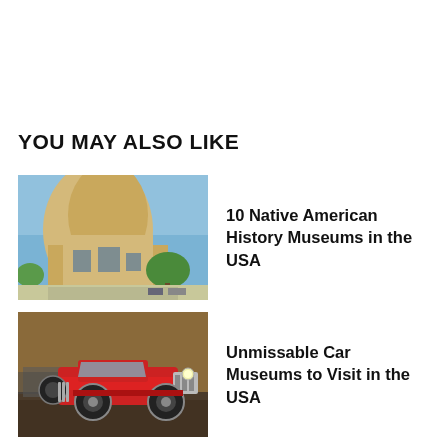YOU MAY ALSO LIKE
[Figure (photo): Building with curved stone facade resembling a large shell or animal form, set against blue sky with trees]
10 Native American History Museums in the USA
[Figure (photo): Vintage red classic car displayed inside a museum hall]
Unmissable Car Museums to Visit in the USA
[Figure (photo): Partial view of a quirky roadside attraction or museum exterior]
Weird and Wonderful Museums to Visit in the United States